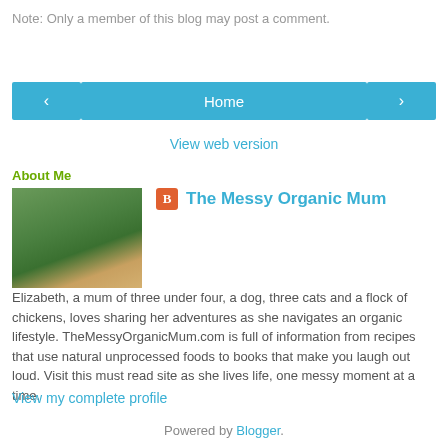Note: Only a member of this blog may post a comment.
[Figure (other): Navigation bar with left arrow button, Home button, and right arrow button in blue]
View web version
About Me
[Figure (photo): Profile photo of a person in a field with trees in background]
The Messy Organic Mum
Elizabeth, a mum of three under four, a dog, three cats and a flock of chickens, loves sharing her adventures as she navigates an organic lifestyle. TheMessyOrganicMum.com is full of information from recipes that use natural unprocessed foods to books that make you laugh out loud. Visit this must read site as she lives life, one messy moment at a time.
View my complete profile
Powered by Blogger.